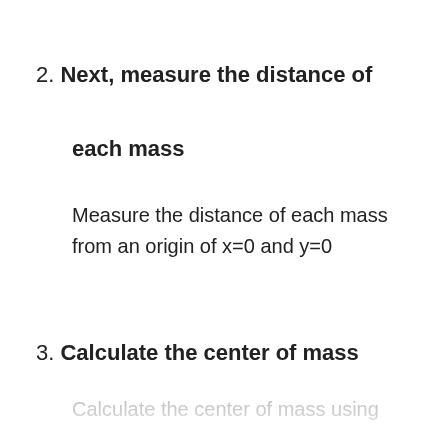2. Next, measure the distance of each mass
Measure the distance of each mass from an origin of x=0 and y=0
3. Calculate the center of mass
Calculate the center of mass using the formula above and the masses